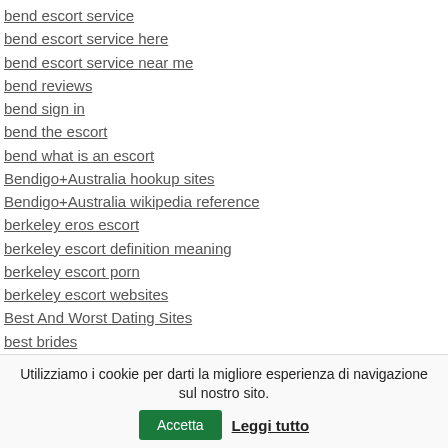bend escort service
bend escort service here
bend escort service near me
bend reviews
bend sign in
bend the escort
bend what is an escort
Bendigo+Australia hookup sites
Bendigo+Australia wikipedia reference
berkeley eros escort
berkeley escort definition meaning
berkeley escort porn
berkeley escort websites
Best And Worst Dating Sites
best brides
Utilizziamo i cookie per darti la migliore esperienza di navigazione sul nostro sito. Accetta Leggi tutto